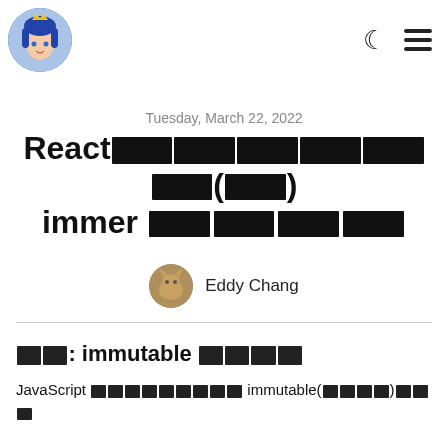[avatar logo] [moon icon] [hamburger menu]
Tuesday, March 22, 2022
React不可變狀態(中) immer 實戰演練
Eddy Chang
前言: immutable 的介紹
JavaScript 其實並沒有 immutable(不可變)的特